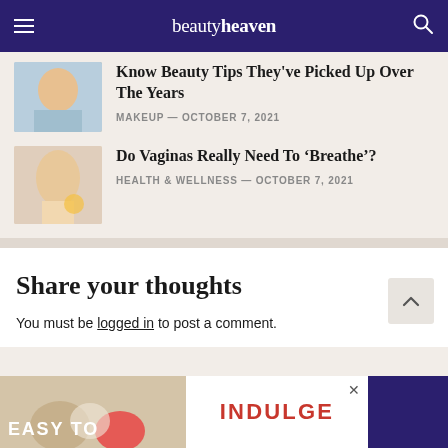beautyheaven
Know Beauty Tips They've Picked Up Over The Years
MAKEUP — OCTOBER 7, 2021
Do Vaginas Really Need To ‘Breathe’?
HEALTH & WELLNESS — OCTOBER 7, 2021
Share your thoughts
You must be logged in to post a comment.
[Figure (other): Advertisement banner with text EASY TO INDULGE]